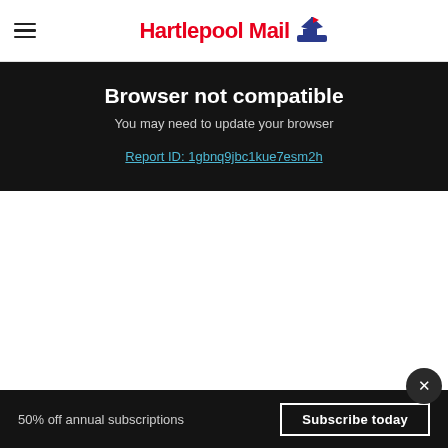Hartlepool Mail
Browser not compatible
You may need to update your browser
Report ID: 1gbnq9jbc1kue7esm2h
50% off annual subscriptions  Subscribe today